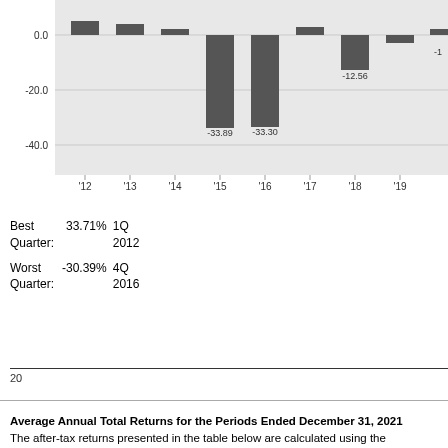[Figure (bar-chart): Annual Returns]
Best Quarter: 33.71% 1Q 2012
Worst Quarter: -30.39% 4Q 2016
20
Average Annual Total Returns for the Periods Ended December 31, 2021
The after-tax returns presented in the table below are calculated using the